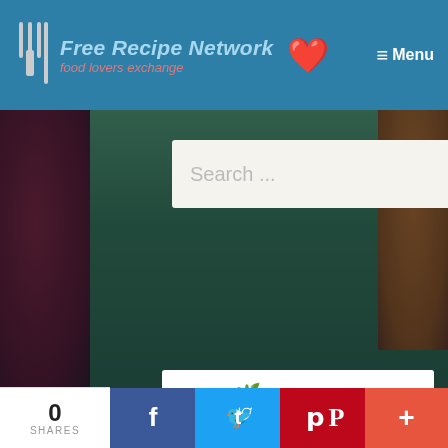Free Recipe Network — food lovers exchange — Menu
Search ...
[Figure (illustration): UrthBox advertisement banner. White cloud logo area with 'urthbox' text in colorful letters on light blue background. Text reads 'FANCY AN ORGANIC & NON GMO BOX OF HEALTHY SNACKS?' with snack box illustration below.]
FANCY AN ORGANIC & NON GMO BOX OF HEALTHY SNACKS?
0
SHARES